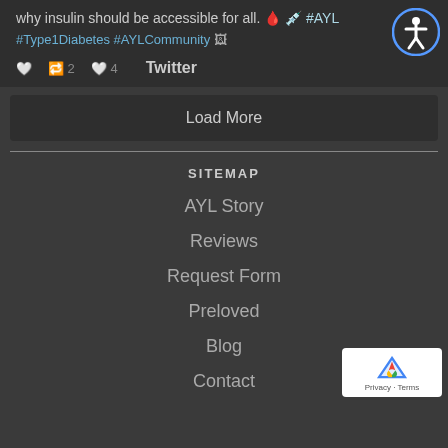why insulin should be accessible for all. 🩸 💉 #AYL
#Type1Diabetes #AYLCommunity 🖼
🤍  🔁 2  ❤ 4   Twitter
Load More
SITEMAP
AYL Story
Reviews
Request Form
Preloved
Blog
Contact